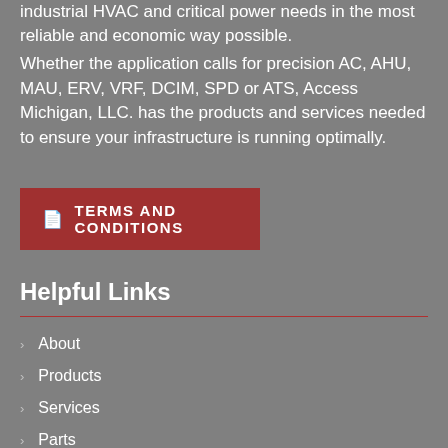industrial HVAC and critical power needs in the most reliable and economic way possible.
Whether the application calls for precision AC, AHU, MAU, ERV, VRF, DCIM, SPD or ATS, Access Michigan, LLC. has the products and services needed to ensure your infrastructure is running optimally.
TERMS AND CONDITIONS
Helpful Links
About
Products
Services
Parts
Resources